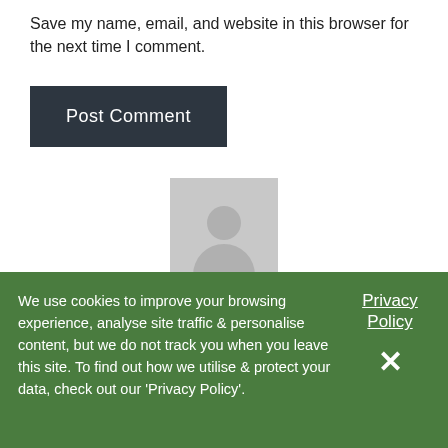Save my name, email, and website in this browser for the next time I comment.
Post Comment
[Figure (illustration): Generic user avatar silhouette on grey background]
Zoraida
Yes true success through Jesus.
We use cookies to improve your browsing experience, analyse site traffic & personalise content, but we do not track you when you leave this site. To find out how we utilise & protect your data, check out our 'Privacy Policy'.
Privacy Policy
✕